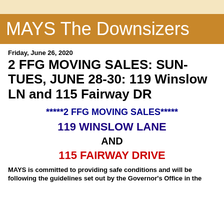MAYS The Downsizers
Friday, June 26, 2020
2 FFG MOVING SALES: SUN-TUES, JUNE 28-30: 119 Winslow LN and 115 Fairway DR
*****2 FFG MOVING SALES*****
119 WINSLOW LANE
AND
115 FAIRWAY DRIVE
MAYS is committed to providing safe conditions and will be following the guidelines set out by the Governor's Office in the